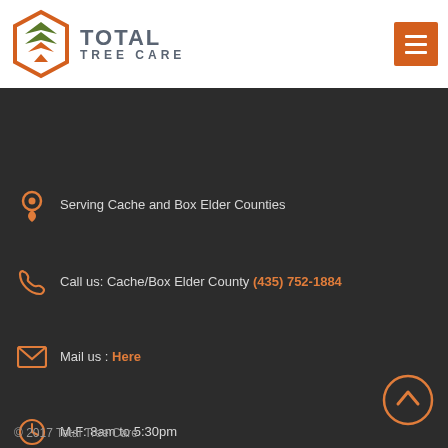[Figure (logo): Total Tree Care logo: orange hexagon with green and orange leaf/tree chevron icon, next to bold text TOTAL TREE CARE]
[Figure (other): Orange hamburger menu button (three horizontal lines) in top right corner]
Serving Cache and Box Elder Counties
Call us: Cache/Box Elder County (435) 752-1884
Mail us : Here
M-F: 8am to 5:30pm
© 2017 Total Tree Care